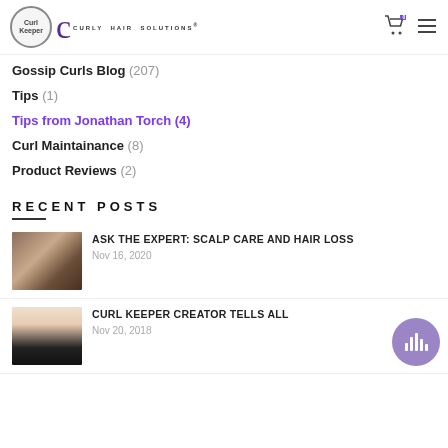Curl Keeper | Curly Hair Solutions
Gossip Curls Blog (207)
Tips (1)
Tips from Jonathan Torch (4)
Curl Maintainance (8)
Product Reviews (2)
RECENT POSTS
ASK THE EXPERT: SCALP CARE AND HAIR LOSS
Nov 16, 2020
CURL KEEPER CREATOR TELLS ALL
Nov 20, 2018